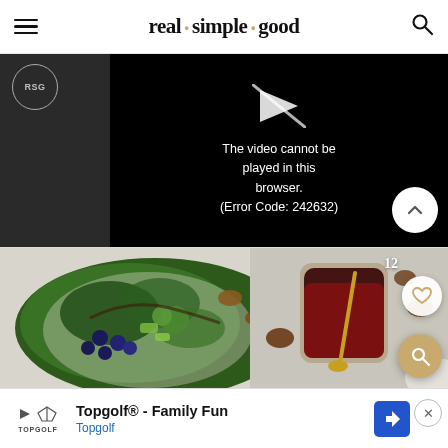real · simple · good
[Figure (screenshot): Video player showing error message: 'The video cannot be played in this browser. (Error Code: 242632)' on a black background, with RSG badge logo on left side]
[Figure (photo): Food photography showing a salad with blueberries, greens, and vegetables on a plate on the left, and a glass jar with dark dressing/sauce and a gold spoon on the right, on a marble surface with nuts scattered around. Number 12 shown in top right corner.]
Topgolf® - Family Fun
Topgolf